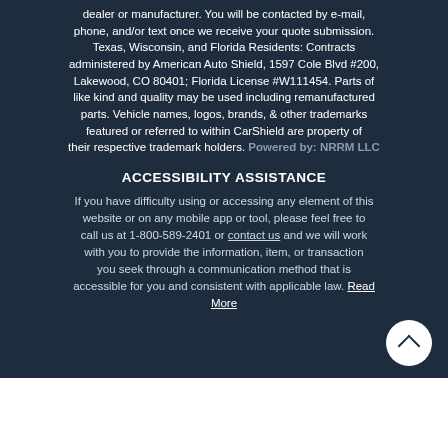dealer or manufacturer. You will be contacted by e-mail, phone, and/or text once we receive your quote submission. Texas, Wisconsin, and Florida Residents: Contracts administered by American Auto Shield, 1597 Cole Blvd #200, Lakewood, CO 80401; Florida License #W111454. Parts of like kind and quality may be used including remanufactured parts. Vehicle names, logos, brands, & other trademarks featured or referred to within CarShield are property of their respective trademark holders. Powered by: NRRM LLC
ACCESSIBILITY ASSISTANCE
If you have difficulty using or accessing any element of this website or on any mobile app or tool, please feel free to call us at 1-800-589-2401 or contact us and we will work with you to provide the information, item, or transaction you seek through a communication method that is accessible for you and consistent with applicable law. Read More